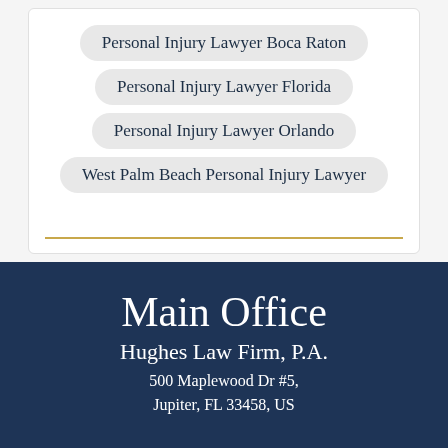Personal Injury Lawyer Boca Raton
Personal Injury Lawyer Florida
Personal Injury Lawyer Orlando
West Palm Beach Personal Injury Lawyer
Main Office
Hughes Law Firm, P.A.
500 Maplewood Dr #5, Jupiter, FL 33458, US